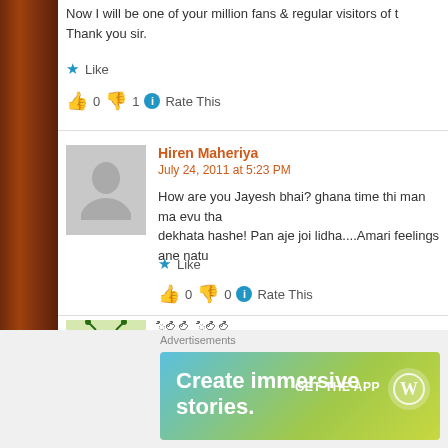Now I will be one of your million fans & regular visitors of this blog. Thank you sir.
Like  👍 0 👎 1 ℹ Rate This
Hiren Maheriya
July 24, 2011 at 5:23 PM
How are you Jayesh bhai? ghana time thi man ma evu tha... dekhata hashe! Pan aje joi lidha....Amari feelings ane natu...
Like  👍 0 👎 0 ℹ Rate This
July 28, 2011 at 12:08 AM
[Gujarati script comment text]
Advertisements
[Figure (infographic): WordPress advertisement banner: Create immersive stories. GET THE APP with WordPress logo]